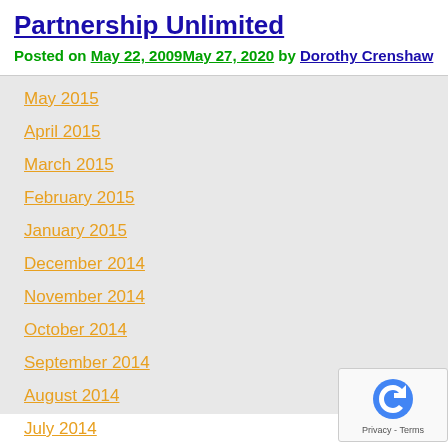Partnership Unlimited
Posted on May 22, 2009May 27, 2020 by Dorothy Crenshaw
May 2015
April 2015
March 2015
February 2015
January 2015
December 2014
November 2014
October 2014
September 2014
August 2014
July 2014